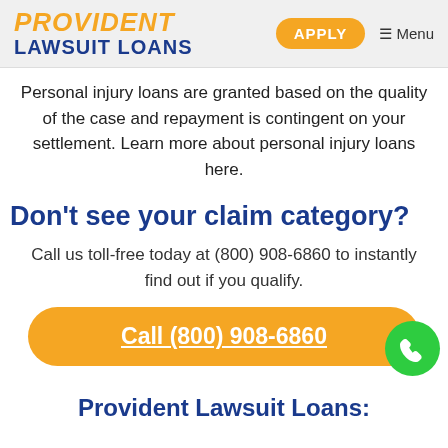PROVIDENT LAWSUIT LOANS | APPLY | Menu
Personal injury loans are granted based on the quality of the case and repayment is contingent on your settlement. Learn more about personal injury loans here.
Don't see your claim category?
Call us toll-free today at (800) 908-6860 to instantly find out if you qualify.
Call (800) 908-6860
Provident Lawsuit Loans: